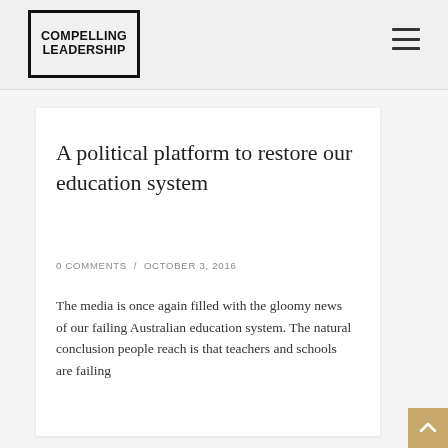COMPELLING LEADERSHIP
A political platform to restore our education system
0 COMMENTS / OCTOBER 3, 2016
The media is once again filled with the gloomy news of our failing Australian education system. The natural conclusion people reach is that teachers and schools are failing